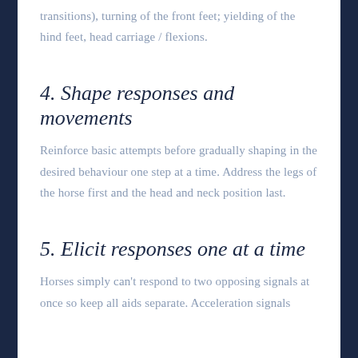transitions), turning of the front feet; yielding of the hind feet, head carriage / flexions.
4. Shape responses and movements
Reinforce basic attempts before gradually shaping in the desired behaviour one step at a time. Address the legs of the horse first and the head and neck position last.
5. Elicit responses one at a time
Horses simply can't respond to two opposing signals at once so keep all aids separate. Acceleration signals